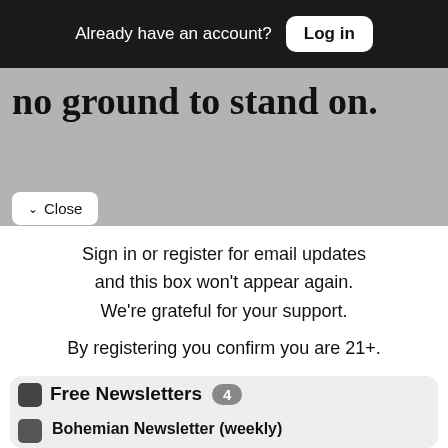Already have an account? Log in
no ground to stand on.
✓ Close
Sign in or register for email updates and this box won't appear again. We're grateful for your support.
By registering you confirm you are 21+.
Free Newsletters 4
Bohemian Newsletter (weekly)